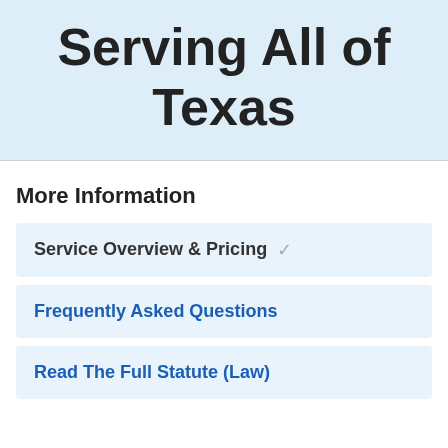Serving All of Texas
More Information
Service Overview & Pricing ✓
Frequently Asked Questions
Read The Full Statute (Law)